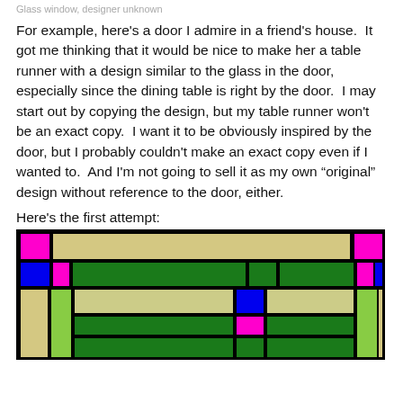Glass window, designer unknown
For example, here's a door I admire in a friend's house.  It got me thinking that it would be nice to make her a table runner with a design similar to the glass in the door, especially since the dining table is right by the door.  I may start out by copying the design, but my table runner won't be an exact copy.  I want it to be obviously inspired by the door, but I probably couldn't make an exact copy even if I wanted to.  And I'm not going to sell it as my own “original” design without reference to the door, either.
Here's the first attempt:
[Figure (illustration): Stained glass style table runner design with colored rectangular blocks — beige/tan, green, magenta/pink, blue — arranged in a grid pattern on a black background.]